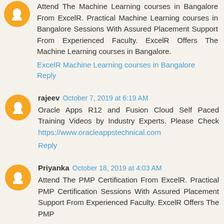Attend The Machine Learning courses in Bangalore From ExcelR. Practical Machine Learning courses in Bangalore Sessions With Assured Placement Support From Experienced Faculty. ExcelR Offers The Machine Learning courses in Bangalore.
ExcelR Machine Learning courses in Bangalore
Reply
rajeev October 7, 2019 at 6:19 AM
Oracle Apps R12 and Fusion Cloud Self Paced Training Videos by Industry Experts. Please Check https://www.oracleappstechnical.com
Reply
Priyanka October 18, 2019 at 4:03 AM
Attend The PMP Certification From ExcelR. Practical PMP Certification Sessions With Assured Placement Support From Experienced Faculty. ExcelR Offers The PMP